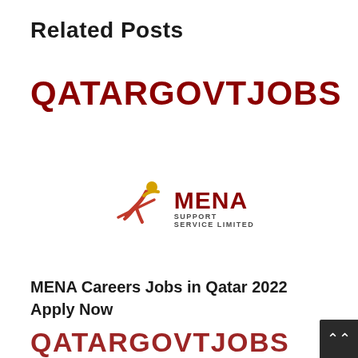Related Posts
[Figure (logo): QATARGOVTJOBS website logo in dark red/maroon bold uppercase text]
[Figure (logo): MENA Support Service Limited logo with a stylized yellow and red running figure, MENA in red bold text, SUPPORT SERVICE LIMITED in small grey text]
MENA Careers Jobs in Qatar 2022 Apply Now
[Figure (logo): QATARGOVTJOBS website logo in dark red/maroon bold uppercase text (second instance, partially visible)]